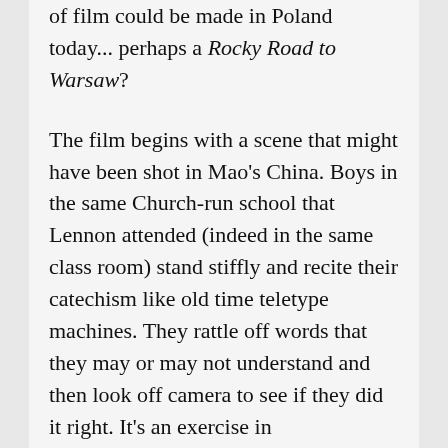... wonder if the same kind of film could be made in Poland today... perhaps a Rocky Road to Warsaw?
The film begins with a scene that might have been shot in Mao's China. Boys in the same Church-run school that Lennon attended (indeed in the same class room) stand stiffly and recite their catechism like old time teletype machines. They rattle off words that they may or may not understand and then look off camera to see if they did it right. It's an exercise in memorization not an